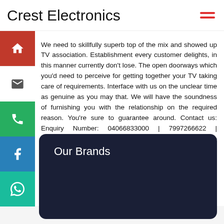Crest Electronics
We need to skillfully superb top of the mix and showed up TV association. Establishment every customer delights, in this manner currently don't lose. The open doorways which you'd need to perceive for getting together your TV taking care of requirements. Interface with us on the unclear time as genuine as you may that. We will have the soundness of furnishing you with the relationship on the required reason. You're sure to guarantee around. Contact us: Enquiry Number: 04066833000 | 7997266622 | 8466066622 | 2466622. We are the top-notch trustable and very great drove vision. our inside is open for this right television reinstallation .
Our Brands